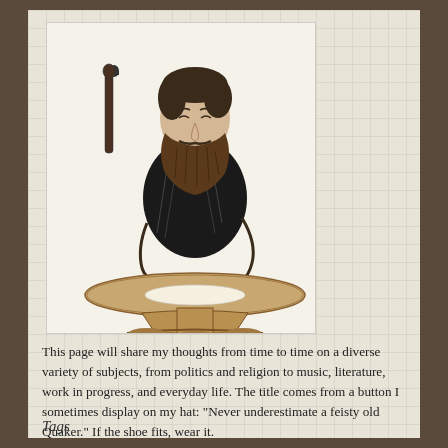[Figure (illustration): Black and white pen-and-ink illustration of a bearded Victorian-era man sitting at a round pedestal desk, writing with a pen. He is dressed in a dark jacket and is leaning forward over the desk.]
This page will share my thoughts from time to time on a diverse variety of subjects, from politics and religion to music, literature, work in progress, and everyday life. The title comes from a button I sometimes display on my hat: "Never underestimate a feisty old Quaker." If the shoe fits, wear it.
Tags